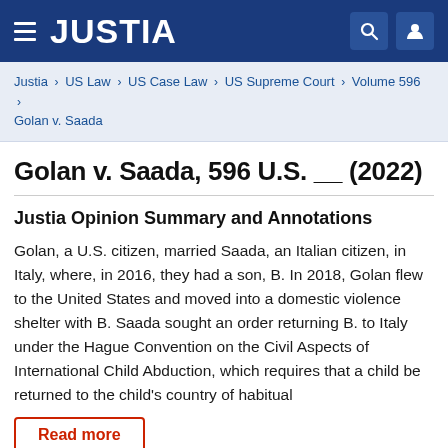JUSTIA
Justia › US Law › US Case Law › US Supreme Court › Volume 596 › Golan v. Saada
Golan v. Saada, 596 U.S. __ (2022)
Justia Opinion Summary and Annotations
Golan, a U.S. citizen, married Saada, an Italian citizen, in Italy, where, in 2016, they had a son, B. In 2018, Golan flew to the United States and moved into a domestic violence shelter with B. Saada sought an order returning B. to Italy under the Hague Convention on the Civil Aspects of International Child Abduction, which requires that a child be returned to the child's country of habitual
Read more